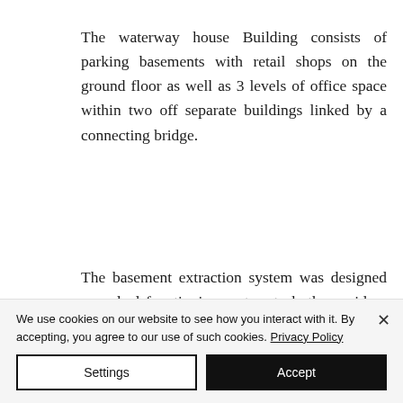The waterway house Building consists of parking basements with retail shops on the ground floor as well as 3 levels of office space within two off separate buildings linked by a connecting bridge.
The basement extraction system was designed as a duel functioning system to both provide a smoke clearance
We use cookies on our website to see how you interact with it. By accepting, you agree to our use of such cookies. Privacy Policy